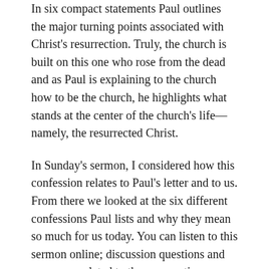In six compact statements Paul outlines the major turning points associated with Christ's resurrection. Truly, the church is built on this one who rose from the dead and as Paul is explaining to the church how to be the church, he highlights what stands at the center of the church's life—namely, the resurrected Christ.
In Sunday's sermon, I considered how this confession relates to Paul's letter and to us. From there we looked at the six different confessions Paul lists and why they mean so much for us today. You can listen to this sermon online; discussion questions and resources related to the resurrection are listed below.
Discussion Questions
Question 1...